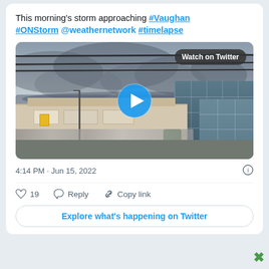This morning's storm approaching #Vaughan #ONStorm @weathernetwork #timelapse
[Figure (screenshot): Twitter/X embedded tweet screenshot showing a video thumbnail of storm clouds approaching Vaughan with buildings in the foreground. A 'Watch on Twitter' button and play button overlay are visible.]
4:14 PM · Jun 15, 2022
♡ 19   Reply   Copy link
Explore what's happening on Twitter